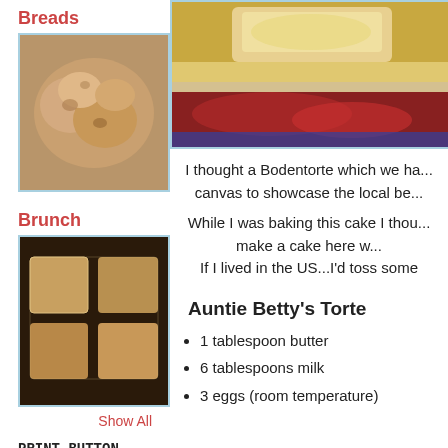Breads
[Figure (photo): Photo of bread rolls in a basket]
Brunch
[Figure (photo): Photo of brunch pastries in a pan]
Show All
PRINT BUTTON
To print a recipe click on the Title. You will find the Print button at the bottom of
[Figure (photo): Top photo of cake with jam on a plate]
I thought a Bodentorte which we ha... canvas to showcase the local be...
While I was baking this cake I thou... make a cake here w... If I lived in the US...I'd toss some
Auntie Betty's Torte
1 tablespoon butter
6 tablespoons milk
3 eggs (room temperature)